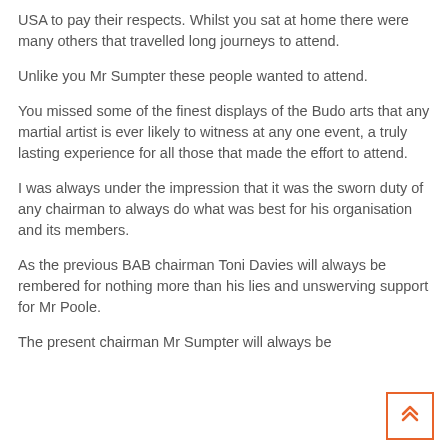USA to pay their respects. Whilst you sat at home there were many others that travelled long journeys to attend.
Unlike you Mr Sumpter these people wanted to attend.
You missed some of the finest displays of the Budo arts that any martial artist is ever likely to witness at any one event, a truly lasting experience for all those that made the effort to attend.
I was always under the impression that it was the sworn duty of any chairman to always do what was best for his organisation and its members.
As the previous BAB chairman Toni Davies will always be rembered for nothing more than his lies and unswerving support for Mr Poole.
The present chairman Mr Sumpter will always be